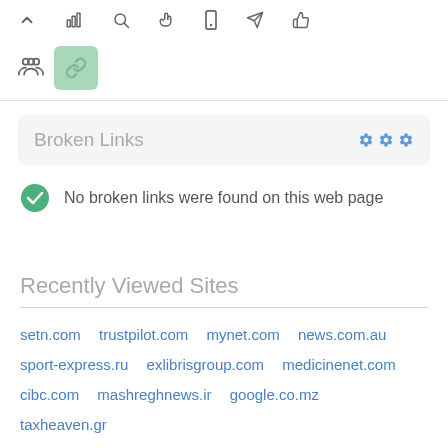[Figure (screenshot): Toolbar with navigation icons: up arrow, bar chart, search, pointer, mobile, send/arrow, thumbs up]
[Figure (screenshot): Second toolbar row with people icon and active green link icon button]
Broken Links
No broken links were found on this web page
Recently Viewed Sites
setn.com  trustpilot.com  mynet.com  news.com.au  sport-express.ru  exlibrisgroup.com  medicinenet.com  cibc.com  mashreghnews.ir  google.co.mz  taxheaven.gr